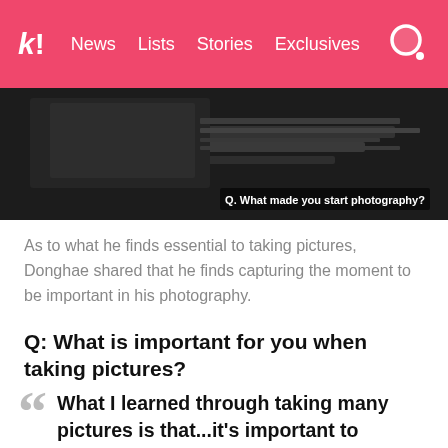k! News  Lists  Stories  Exclusives
[Figure (screenshot): Video thumbnail showing photography equipment in dark setting with subtitle 'Q. What made you start photography?']
As to what he finds essential to taking pictures, Donghae shared that he finds capturing the moment to be important in his photography.
Q: What is important for you when taking pictures?
What I learned through taking many pictures is that...it’s important to remember the emotion of the moment in which I took that picture. What’s most important in my photography is